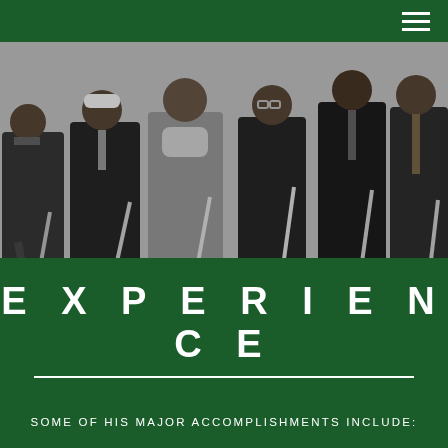[Figure (photo): Black and white photograph of a group of people at a groundbreaking ceremony, each holding shovels and digging into a mound of dirt. A sign partially visible in the background mentions Mayor Tom and Milwaukee.]
EXPERIENCE
SOME OF HIS MAJOR ACCOMPLISHMENTS INCLUDE: